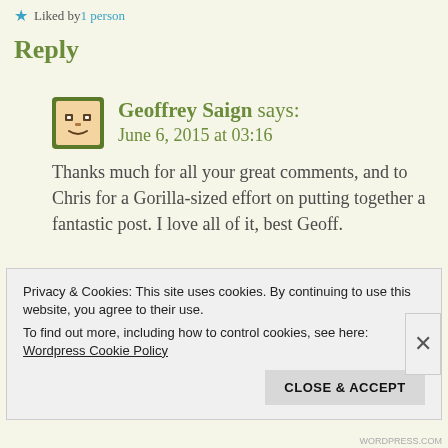★ Liked by 1 person
Reply
[Figure (illustration): Small square avatar icon with a cartoon face (smiley/robot face) on a green background border]
Geoffrey Saign says:
June 6, 2015 at 03:16
Thanks much for all your great comments, and to Chris for a Gorilla-sized effort on putting together a fantastic post. I love all of it, best Geoff.
Privacy & Cookies: This site uses cookies. By continuing to use this website, you agree to their use.
To find out more, including how to control cookies, see here:
Wordpress Cookie Policy
CLOSE & ACCEPT